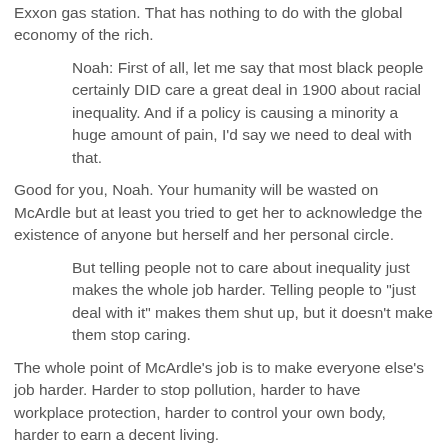Exxon gas station. That has nothing to do with the global economy of the rich.
Noah: First of all, let me say that most black people certainly DID care a great deal in 1900 about racial inequality. And if a policy is causing a minority a huge amount of pain, I'd say we need to deal with that.
Good for you, Noah. Your humanity will be wasted on McArdle but at least you tried to get her to acknowledge the existence of anyone but herself and her personal circle.
But telling people not to care about inequality just makes the whole job harder. Telling people to "just deal with it" makes them shut up, but it doesn't make them stop caring.
The whole point of McArdle's job is to make everyone else's job harder. Harder to stop pollution, harder to have workplace protection, harder to control your own body, harder to earn a decent living.
Megan: In my circles, and in my reading, virtually